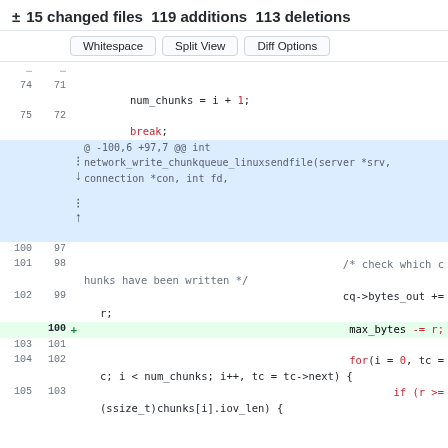± 15 changed files  119 additions  113 deletions
[Figure (screenshot): Diff view buttons: Whitespace, Split View, Diff Options]
Code diff showing lines 74-105 of a C source file with network_write_chunkqueue_linuxsendfile function. Includes a new addition on line 100: max_bytes -= r;